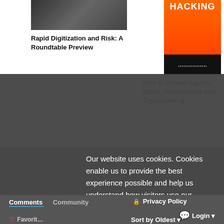[Figure (photo): Partial photo of a person in dark jacket, white shirt (cropped, top portion visible)]
Rapid Digitization and Risk: A Roundtable Preview
[Figure (illustration): Book cover with orange background and 'HACKING' text in large letters, black bottom section with small text]
How to Defend Against DDoS, Ransomware and Cryptojacking
[Figure (photo): Dark wavy texture image with Proofpoint logo]
The Hun…
Our website uses cookies. Cookies enable us to provide the best experience possible and help us understand how visitors use our website. By browsing inforisktoday.co.uk, you agree to our use of cookies.
×
Comments
Community
🔒 Privacy Policy
💬 Login ▾
♡ Favorit…
Sort by Oldest ▾